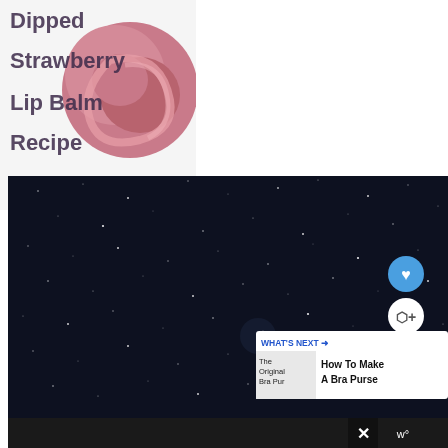[Figure (photo): Photo of lip balm product - pink/rosy circular swirl of lip balm with text overlay reading 'Dipped Strawberry Lip Balm Recipe']
Lip Balm – Dipped Strawberries
[Figure (photo): Dark navy/black background with scattered white sparkle/star-like specks resembling a night sky or glittery dark surface. Contains UI overlay elements: a blue circular heart/like button, a white circular share button with arrow icon, a 'WHAT'S NEXT' banner showing 'How To Make A Bra Purse', and a small image thumbnail labeled 'The Original Bra Pur'. At bottom right there is a dark bar with an X close button and a 'w°' watermark logo.]